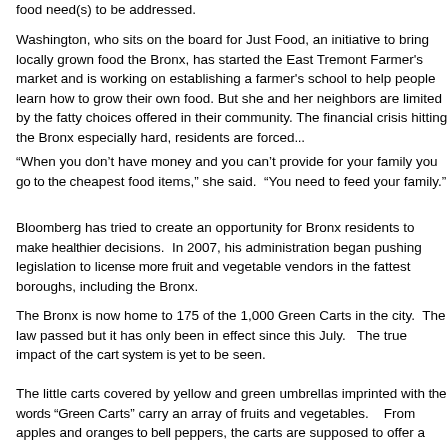food need(s) to be addressed.
Washington, who sits on the board for Just Food, an initiative to bring locally grown food the Bronx, has started the East Tremont Farmer's market and is working on establishing a farmer's school to help people learn how to grow their own food. But she and her neighbors are limited by the fatty choices offered in their community. The financial crisis hitting the Bronx especially hard, residents are forced...
“When you don’t have money and you can’t provide for your family you go to the cheapest food items,” she said.  “You need to feed your family.”
Bloomberg has tried to create an opportunity for Bronx residents to make healthier decisions.  In 2007, his administration began pushing legislation to license more fruit and vegetable vendors in the fattest boroughs, including the Bronx.
The Bronx is now home to 175 of the 1,000 Green Carts in the city. The law passed but it has only been in effect since this July.   The true impact of the cart system is yet to be seen.
The little carts covered by yellow and green umbrellas imprinted with the words “Green Carts” carry an array of fruits and vegetables.   From apples and oranges to bell peppers, the carts are supposed to offer a healthy alternative for residents and a source for employment.